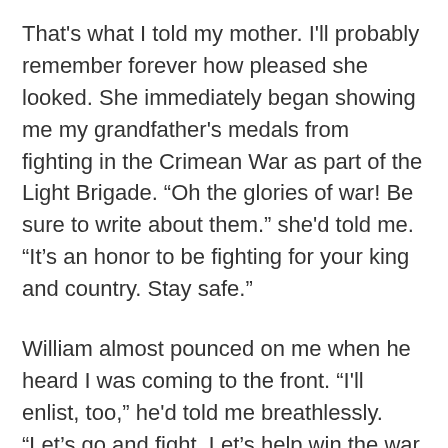That's what I told my mother. I'll probably remember forever how pleased she looked. She immediately began showing me my grandfather's medals from fighting in the Crimean War as part of the Light Brigade. “Oh the glories of war! Be sure to write about them.” she'd told me. “It's an honor to be fighting for your king and country. Stay safe.”
William almost pounced on me when he heard I was coming to the front. “I'll enlist, too,” he'd told me breathlessly. “Let’s go and fight. Let’s help win the war. We’ll kick those Germans back into place.” Will had always been especially patriotic- I'm sure ‘God Save the King’ is the song he sings while bathing- and he'd spent our entire childhood